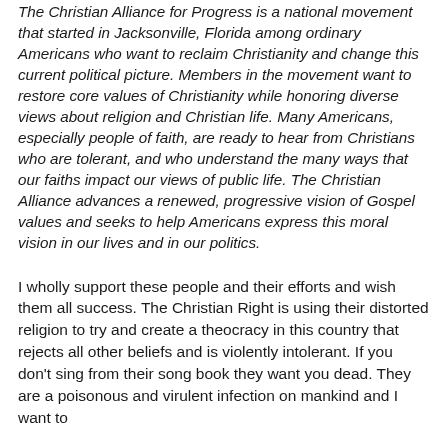The Christian Alliance for Progress is a national movement that started in Jacksonville, Florida among ordinary Americans who want to reclaim Christianity and change this current political picture. Members in the movement want to restore core values of Christianity while honoring diverse views about religion and Christian life. Many Americans, especially people of faith, are ready to hear from Christians who are tolerant, and who understand the many ways that our faiths impact our views of public life. The Christian Alliance advances a renewed, progressive vision of Gospel values and seeks to help Americans express this moral vision in our lives and in our politics.
I wholly support these people and their efforts and wish them all success. The Christian Right is using their distorted religion to try and create a theocracy in this country that rejects all other beliefs and is violently intolerant. If you don't sing from their song book they want you dead. They are a poisonous and virulent infection on mankind and I want to